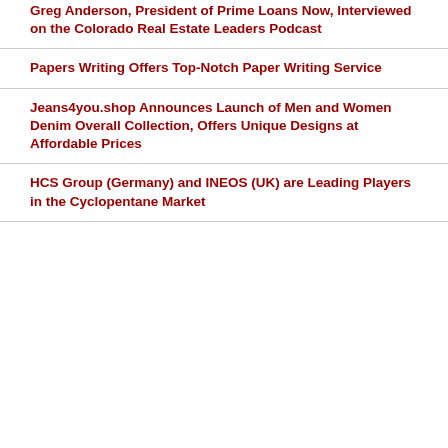Greg Anderson, President of Prime Loans Now, Interviewed on the Colorado Real Estate Leaders Podcast
Papers Writing Offers Top-Notch Paper Writing Service
Jeans4you.shop Announces Launch of Men and Women Denim Overall Collection, Offers Unique Designs at Affordable Prices
HCS Group (Germany) and INEOS (UK) are Leading Players in the Cyclopentane Market